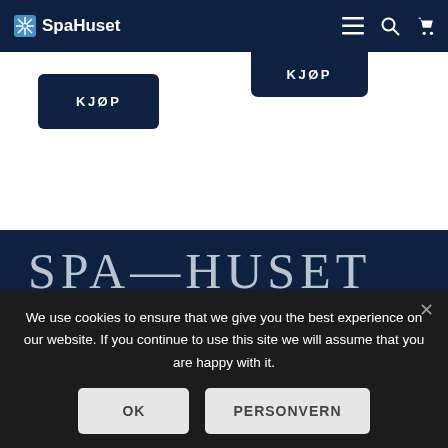SpaHuset
[Figure (screenshot): KJØP button on left side, dark navy background]
[Figure (screenshot): KJØP button on right side dropdown, dark navy background]
SPA—HUSET
JMP INVEST AS
We use cookies to ensure that we give you the best experience on our website. If you continue to use this site we will assume that you are happy with it.
OK
PERSONVERN